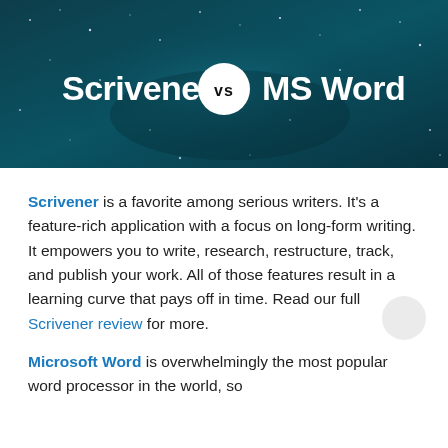[Figure (illustration): Dark teal/blue starry sky background banner with 'Scrivener' in white bold text on the left, a white circle with 'vs' in the center, and 'MS Word' in white bold text on the right.]
Scrivener is a favorite among serious writers. It's a feature-rich application with a focus on long-form writing. It empowers you to write, research, restructure, track, and publish your work. All of those features result in a learning curve that pays off in time. Read our full Scrivener review for more.
Microsoft Word is overwhelmingly the most popular word processor in the world, so